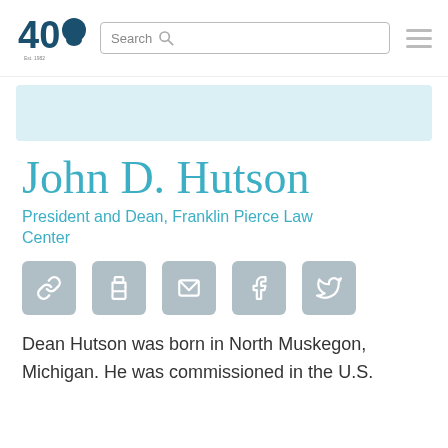40 [logo] Search [hamburger menu]
[Figure (other): Light blue banner/placeholder image area]
John D. Hutson
President and Dean, Franklin Pierce Law Center
[Figure (infographic): Row of 5 social/action icon buttons: link, print, email, Facebook, Twitter]
Dean Hutson was born in North Muskegon, Michigan.  He was commissioned in the U.S.